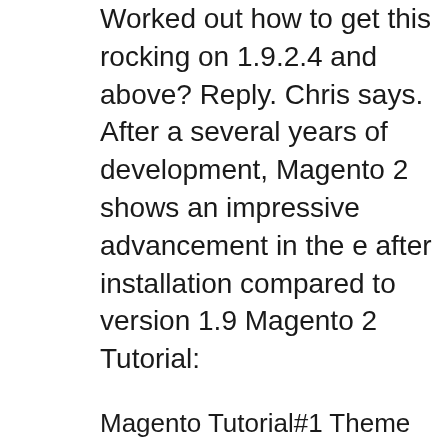Worked out how to get this rocking on 1.9.2.4 and above? Reply. Chris says. After a several years of development, Magento 2 shows an impressive advancement in the e after installation compared to version 1.9 Magento 2 Tutorial:
Magento Tutorial#1 Theme erstellen - Deutsch - YouTube. How to install Magento 1.9 - This tutorial is for magento beginner developer to install the magento 1.9 successfully. Firstly, we will download the files from the, As Magento Extension Developer at Feedback Company you make sure our